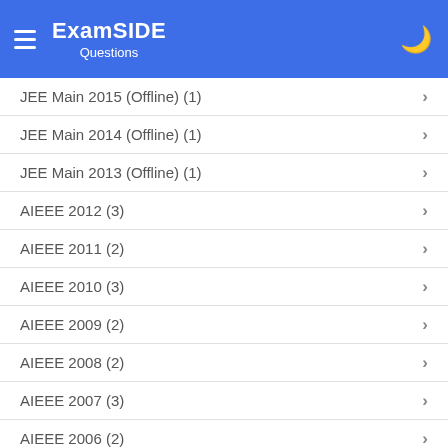ExamSIDE Questions
JEE Main 2015 (Offline) (1)
JEE Main 2014 (Offline) (1)
JEE Main 2013 (Offline) (1)
AIEEE 2012 (3)
AIEEE 2011 (2)
AIEEE 2010 (3)
AIEEE 2009 (2)
AIEEE 2008 (2)
AIEEE 2007 (3)
AIEEE 2006 (2)